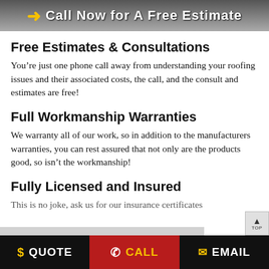[Figure (photo): Header image showing a rooftop with text overlay 'Call Now for A Free Estimate' and a yellow arrow icon on the left]
Free Estimates & Consultations
You're just one phone call away from understanding your roofing issues and their associated costs, the call, and the consult and estimates are free!
Full Workmanship Warranties
We warranty all of our work, so in addition to the manufacturers warranties, you can rest assured that not only are the products good, so isn't the workmanship!
Fully Licensed and Insured
This is no joke, ask us for our insurance certificates
$ QUOTE   CALL   EMAIL   TOP